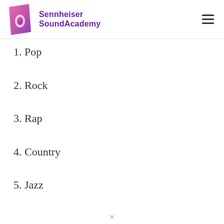Sennheiser SoundAcademy
There are many different music genres, but 10 of the most popular are listed below.
1. Pop
2. Rock
3. Rap
4. Country
5. Jazz